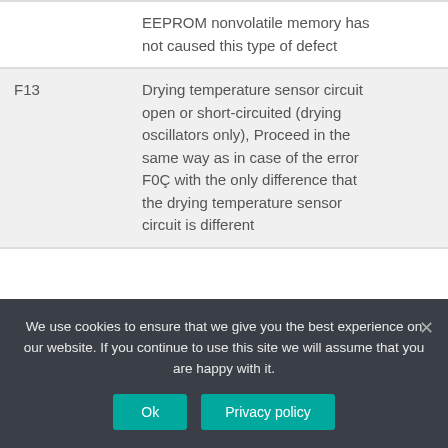| Code | Description | Notes |
| --- | --- | --- |
|  | EEPROM nonvolatile memory has not caused this type of defect |  |
| F13 | Drying temperature sensor circuit open or short-circuited (drying oscillators only), Proceed in the same way as in case of the error F0Ç with the only difference that the drying temperature sensor circuit is different |  |
We use cookies to ensure that we give you the best experience on our website. If you continue to use this site we will assume that you are happy with it.